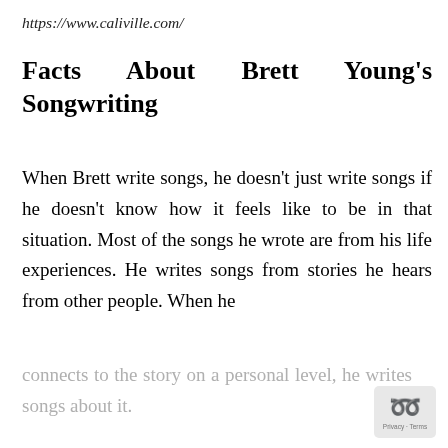https://www.caliville.com/
Facts About Brett Young's Songwriting
When Brett write songs, he doesn't just write songs if he doesn't know how it feels like to be in that situation. Most of the songs he wrote are from his life experiences. He writes songs from stories he hears from other people. When he connects to the story on a personal level, he writes songs about it.